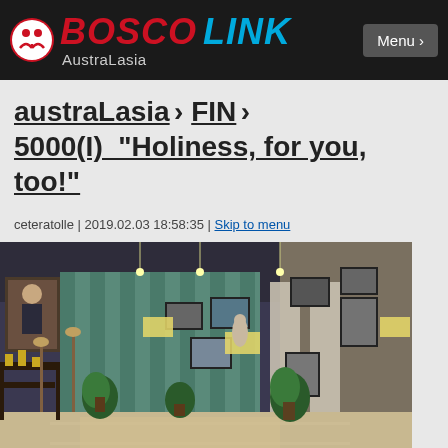BOSCO Australasia LINK — Menu
austraLasia › FIN › 5000(I)_"Holiness, for you, too!"
ceteratolle | 2019.02.03 18:58:35 | Skip to menu
[Figure (photo): Interior of an exhibition hall with framed photographs and portraits on display boards and walls. The hall has teal curtains, decorative plants, and a shiny tiled floor. A large portrait of a Salesian figure is visible on the left wall.]